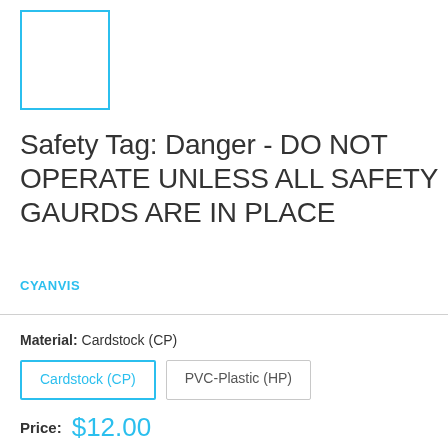[Figure (other): Product image placeholder — white rectangle with cyan/blue border]
Safety Tag: Danger - DO NOT OPERATE UNLESS ALL SAFETY GAURDS ARE IN PLACE
CYANVIS
Material: Cardstock (CP)
Cardstock (CP)
PVC-Plastic (HP)
Price: $12.00